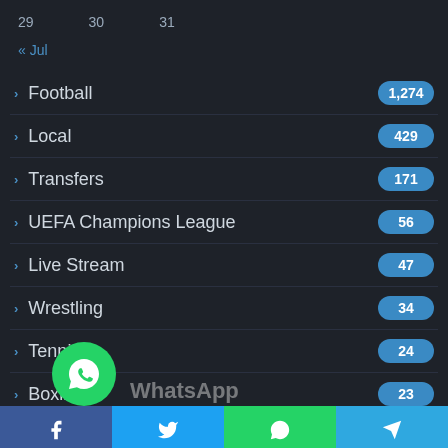29   30   31
« Jul
Football
Local
Transfers
UEFA Champions League
Live Stream
Wrestling
Tennis
Boxing
l News
orized
Facebook  Twitter  WhatsApp  Telegram